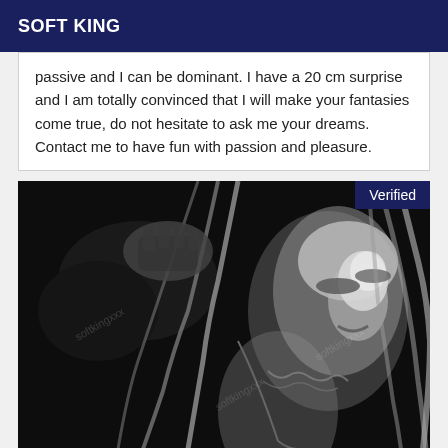SOFT KING
passive and I can be dominant. I have a 20 cm surprise and I am totally convinced that I will make your fantasies come true, do not hesitate to ask me your dreams. Contact me to have fun with passion and pleasure.
[Figure (photo): Black and white photograph of a blonde woman with head tilted back, with a hand grabbing her hair from behind. A 'Verified' badge appears in the top right corner.]